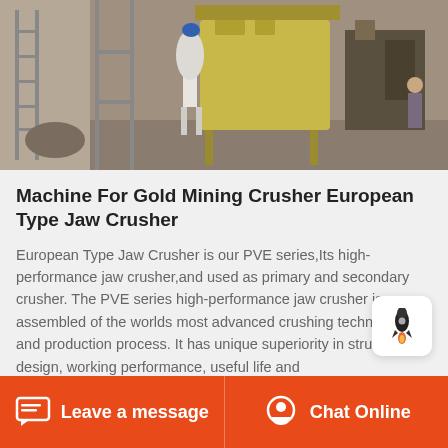[Figure (photo): Industrial photo of a gold mining crusher machine setup in a factory/workshop environment, with scaffolding, machinery, and workers visible.]
Machine For Gold Mining Crusher European Type Jaw Crusher
European Type Jaw Crusher is our PVE series,Its high-performance jaw crusher,and used as primary and secondary crusher. The PVE series high-performance jaw crusher is assembled of the worlds most advanced crushing technology and production process. It has unique superiority in structure design, working performance, useful life and
Leave a message   Chat Online